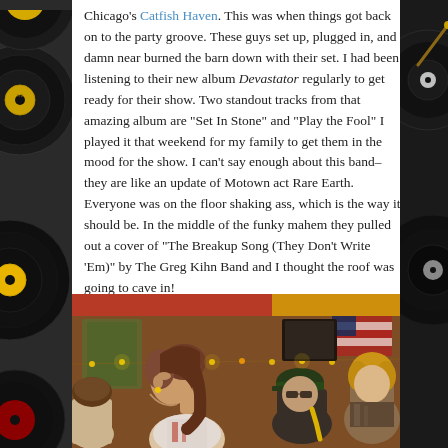Chicago's Catfish Haven. This was when things got back on to the party groove. These guys set up, plugged in, and damn near burned the barn down with their set. I had been listening to their new album Devastator regularly to get ready for their show. Two standout tracks from that amazing album are “Set In Stone” and “Play the Fool” I played it that weekend for my family to get them in the mood for the show. I can’t say enough about this band–they are like an update of Motown act Rare Earth. Everyone was on the floor shaking ass, which is the way it should be. In the middle of the funky mahem they pulled out a cover of “The Breakup Song (They Don’t Write ‘Em)” by The Greg Kihn Band and I thought the roof was going to cave in!
[Figure (photo): Crowd of people at an indoor music venue/barn show. A young woman with long brown hair is visible in the foreground looking upward, with other people visible behind her. An American flag and string lights are visible in the background. Red banner/sign visible at top of image.]